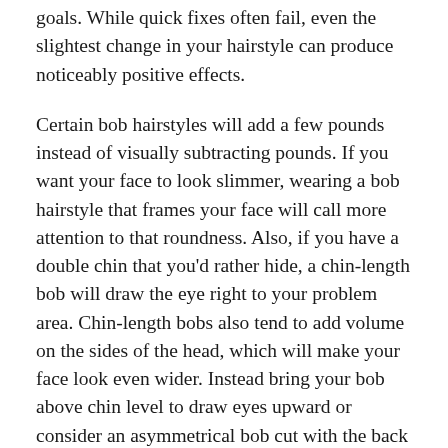goals. While quick fixes often fail, even the slightest change in your hairstyle can produce noticeably positive effects.
Certain bob hairstyles will add a few pounds instead of visually subtracting pounds. If you want your face to look slimmer, wearing a bob hairstyle that frames your face will call more attention to that roundness. Also, if you have a double chin that you'd rather hide, a chin-length bob will draw the eye right to your problem area. Chin-length bobs also tend to add volume on the sides of the head, which will make your face look even wider. Instead bring your bob above chin level to draw eyes upward or consider an asymmetrical bob cut with the back short and the front being longer than your chin. When hair is all one length, it tends to